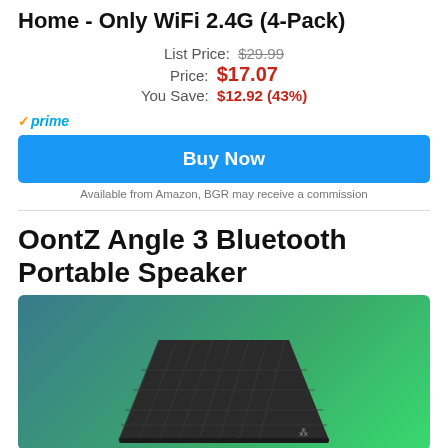Home - Only WiFi 2.4G (4-Pack)
List Price: $29.99
Price: $17.07
You Save: $12.92 (43%)
prime
Buy Now
Available from Amazon, BGR may receive a commission
OontZ Angle 3 Bluetooth Portable Speaker
[Figure (photo): OontZ Angle 3 Bluetooth Portable Speaker against a teal-to-green gradient background]